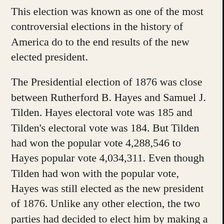This election was known as one of the most controversial elections in the history of America do to the end results of the new elected president.
The Presidential election of 1876 was close between Rutherford B. Hayes and Samuel J. Tilden. Hayes electoral vote was 185 and Tilden's electoral vote was 184. But Tilden had won the popular vote 4,288,546 to Hayes popular vote 4,034,311. Even though Tilden had won with the popular vote, Hayes was still elected as the new president of 1876. Unlike any other election, the two parties had decided to elect him by making a deal called the Compromise of 1877.
The Compromise of 1877 was a deal made by